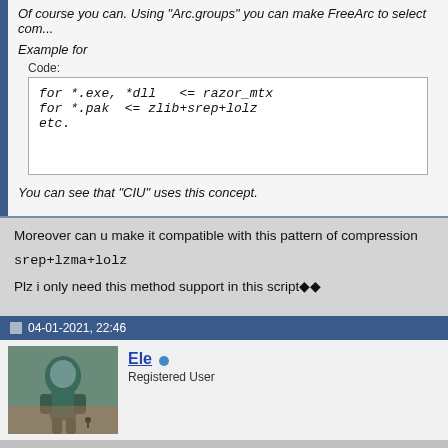Of course you can. Using "Arc.groups" you can make FreeArc to select com...
Example for
Code:
for *.exe, *dll  <= razor_mtx
for *.pak  <= zlib+srep+lolz
etc.
You can see that "CIU" uses this concept.
Moreover can u make it compatible with this pattern of compression
srep+lzma+lolz
Plz i only need this method support in this script◆◆
04-01-2021, 22:46
Ele
Registered User